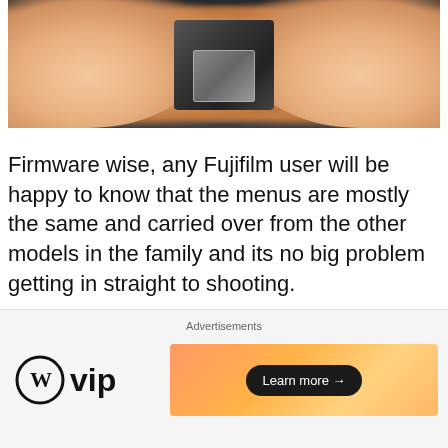[Figure (photo): Close-up of fingers holding a Fujifilm camera body, dark blue/black textured grip visible between fingers]
Firmware wise, any Fujifilm user will be happy to know that the menus are mostly the same and carried over from the other models in the family and its no big problem getting in straight to shooting.
[Figure (photo): Camera controls/dials resting on a wooden surface, showing metal knobs and dials]
Advertisements
[Figure (logo): WordPress VIP logo with W circle icon and 'vip' text]
[Figure (infographic): Orange gradient advertisement banner with 'Learn more' button]